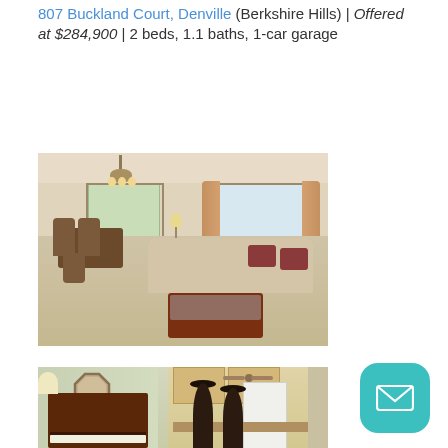807 Buckland Court, Denville (Berkshire Hills) | Offered at $284,900 | 2 beds, 1.1 baths, 1-car garage
[Figure (photo): Interior photo of a living/dining room with beige carpet, chandelier, sliding glass doors, large windows with floral curtains, a dark wood dining set on the left, and a cream sofa with red accent pillows and a dark wood coffee table on the right]
[Figure (photo): Interior photo showing a piano with a lamp on the left side and an open kitchen with bar stools, ceiling fan, light wood cabinets, and a white refrigerator on the right side]